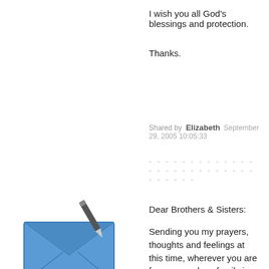I wish you all God's blessings and protection.
Thanks.
Shared by  Elizabeth   September 29, 2005 10:05:33
- - - - - - - - - - - - - - - - - - - - - - - - - - - - - - - - - - - - -
[Figure (illustration): Blue envelope icon with a pen/pencil overlaid on it, suggesting a letter or message being written.]
Dear Brothers & Sisters:
Sending you my prayers, thoughts and feelings at this time, wherever you are from me and my family in New Zealand.
Gratitude is one of the most important and unwavering feelings one must keep in heart and soul, know and feel that what you have experienced with Katrina must be for some reason.
Do not worry or fret, if you have lost a loved